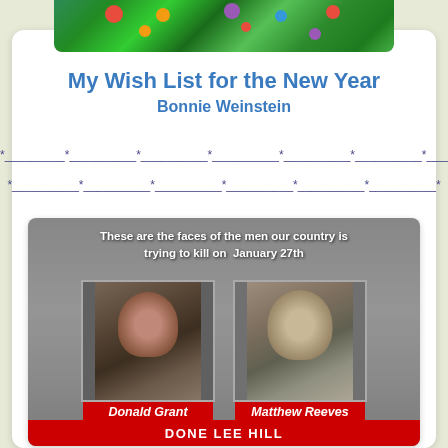[Figure (illustration): Colorful decorative header image with green background, flowers and abstract art]
My Wish List for the New Year
Bonnie Weinstein
*---------*----------*----------*----------*----------*----------*---------*
*----------*----------*----------*----------*----------*----------*
[Figure (photo): Flyer showing two men scheduled for execution. Text reads: 'These are the faces of the men our country is trying to kill on January 27th'. Left photo: Donald Grant, Oklahoma, Call Gov. Stitt 405.521.2342. Right photo: Matthew Reeves, Alabama, Call Gov. Ivey 334.242.7100.]